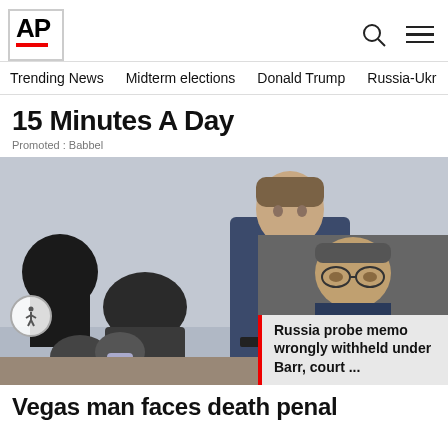AP
Trending News  Midterm elections  Donald Trump  Russia-Ukr
15 Minutes A Day
Promoted : Babbel
[Figure (photo): Man in blue prison scrubs standing in a courtroom, other people seated around him. An accessibility icon button visible at lower left. An overlay card at lower right shows a photo of a man with glasses and text 'Russia probe memo wrongly withheld under Barr, court ...' with red accent bar and X close button.]
Russia probe memo wrongly withheld under Barr, court ...
Vegas man faces death penal